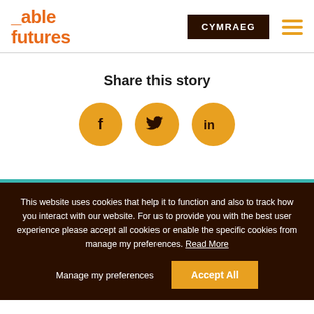_able futures | CYMRAEG
Share this story
[Figure (illustration): Three social media icons in orange circles: Facebook (f), Twitter (bird), LinkedIn (in)]
This website uses cookies that help it to function and also to track how you interact with our website. For us to provide you with the best user experience please accept all cookies or enable the specific cookies from manage my preferences. Read More
Manage my preferences | Accept All